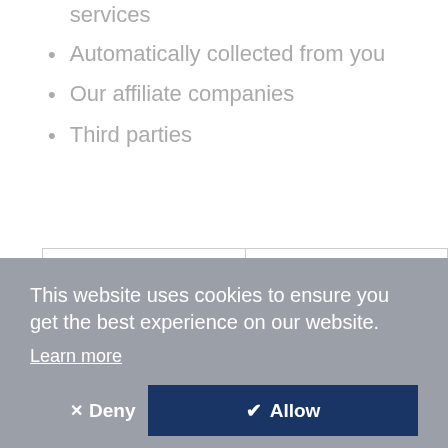You, including through the use of our services
Automatically collected from you
Our affiliate companies
Third parties
|  | Categories of Third |
| --- | --- |
[Figure (screenshot): Cookie consent overlay dialog with text 'This website uses cookies to ensure you get the best experience on our website.' with a 'Learn more' link, a 'Deny' button, and an 'Allow' button on dark navy blue background.]